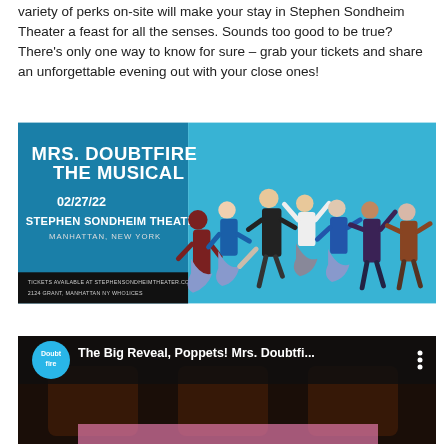variety of perks on-site will make your stay in Stephen Sondheim Theater a feast for all the senses. Sounds too good to be true? There's only one way to know for sure – grab your tickets and share an unforgettable evening out with your close ones!
[Figure (photo): Mrs. Doubtfire The Musical promotional poster dated 02/27/22 at Stephen Sondheim Theater, Manhattan, New York. Left panel is dark blue with white text and a bottom black strip with ticket info. Right panel shows dancers on a blue background.]
[Figure (screenshot): Video thumbnail for 'The Big Reveal, Poppets! Mrs. Doubtfi...' with a blue Doubtfire channel logo circle, white title text, and a dark background showing what appears to be cups or objects.]